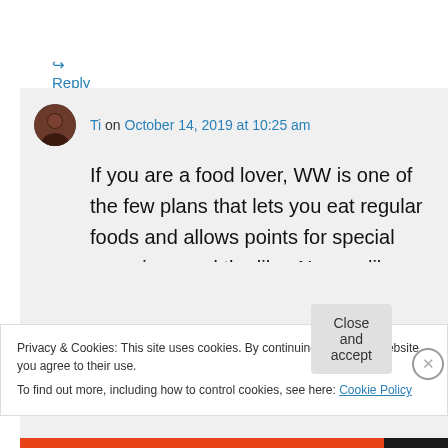↪ Reply
Ti on October 14, 2019 at 10:25 am
If you are a food lover, WW is one of the few plans that lets you eat regular foods and allows points for special occasions and the like. No one likes being on a plan but camp just about killed me last year. I was so out of shape
Privacy & Cookies: This site uses cookies. By continuing to use this website, you agree to their use.
To find out more, including how to control cookies, see here: Cookie Policy
Close and accept